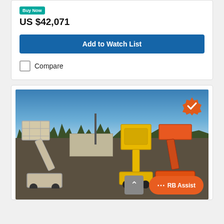Buy Now
US $42,071
Add to Watch List
Compare
[Figure (photo): Photo of construction aerial lift equipment (boom lifts) parked in an outdoor yard. Left: white/beige boom lift platform. Center and right: orange and yellow boom lifts. Red equipment visible in background. Blue sky with sparse trees in background. A verified badge (orange star with checkmark) is visible in the top-right corner. An orange 'RB Assist' chat button is in the bottom-right corner.]